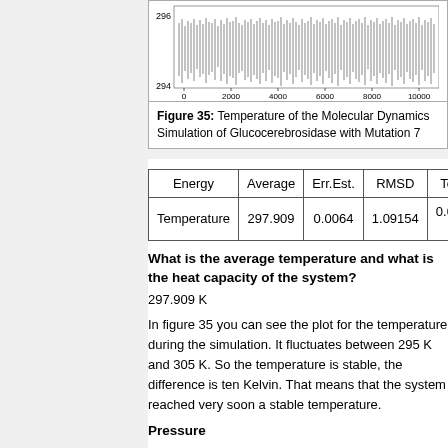[Figure (continuous-plot): Line/time-series chart showing temperature of molecular dynamics simulation over time (ps). Y-axis shows temperature around 294-296 K, X-axis shows Time (ps) from 0 to 10000. Dense fluctuating signal.]
Figure 35: Temperature of the Molecular Dynamics Simulation of Glucocerebrosidase with Mutation 7
| Energy | Average | Err.Est. | RMSD | Tot-D... |
| --- | --- | --- | --- | --- |
| Temperature | 297.909 | 0.0064 | 1.09154 | 0.0047... (K |
What is the average temperature and what is the heat capacity of the system?
297.909 K
In figure 35 you can see the plot for the temperature during the simulation. It fluctuates between 295 K and 305 K. So the temperature is stable, the difference is ten Kelvin. That means that the system reached very soon a stable temperature.
Pressure